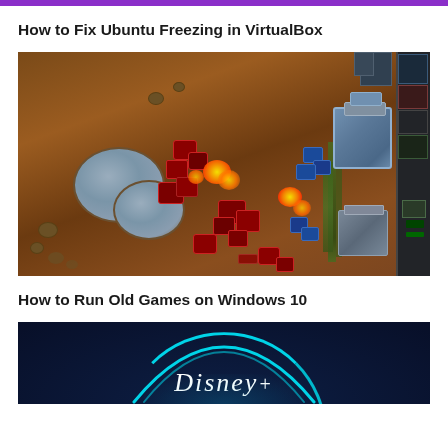How to Fix Ubuntu Freezing in VirtualBox
[Figure (screenshot): Screenshot of a StarCraft real-time strategy game showing combat scene on a Mars-like terrain with red and blue units fighting, craters visible, buildings on the right side, and a HUD panel on the far right.]
How to Run Old Games on Windows 10
[Figure (screenshot): Screenshot with dark navy blue background showing a Disney+ logo with cyan arc and white cursive Disney lettering at the bottom.]